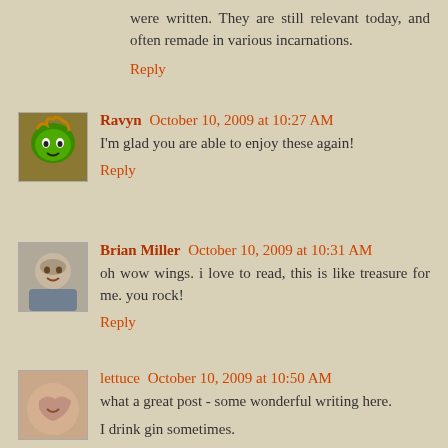were written. They are still relevant today, and often remade in various incarnations.
Reply
[Figure (photo): Avatar of user Ravyn - cartoon green M&M character with wild hair]
Ravyn  October 10, 2009 at 10:27 AM
I'm glad you are able to enjoy these again!
Reply
[Figure (photo): Avatar of user Brian Miller - photo of a bald man]
Brian Miller  October 10, 2009 at 10:31 AM
oh wow wings. i love to read, this is like treasure for me. you rock!
Reply
[Figure (photo): Avatar of user lettuce - photo showing hands]
lettuce  October 10, 2009 at 10:50 AM
what a great post - some wonderful writing here.
I drink gin sometimes.